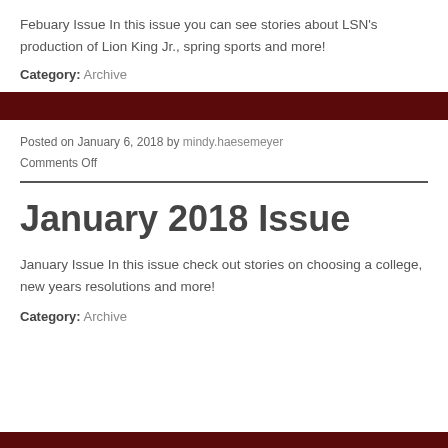Febuary Issue In this issue you can see stories about LSN's production of Lion King Jr., spring sports and more!
Category: Archive
Posted on January 6, 2018 by mindy.haesemeyer
Comments Off
January 2018 Issue
January Issue In this issue check out stories on choosing a college, new years resolutions and more!
Category: Archive